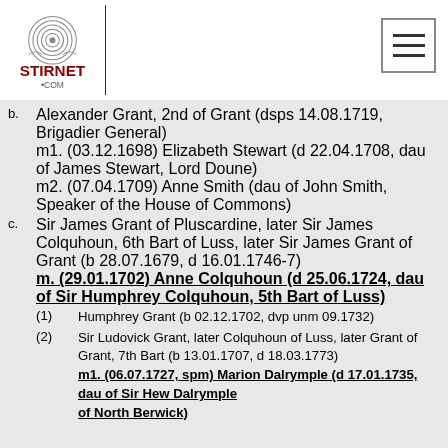Stirnet.com logo and navigation
b. Alexander Grant, 2nd of Grant (dsps 14.08.1719, Brigadier General) m1. (03.12.1698) Elizabeth Stewart (d 22.04.1708, dau of James Stewart, Lord Doune) m2. (07.04.1709) Anne Smith (dau of John Smith, Speaker of the House of Commons)
c. Sir James Grant of Pluscardine, later Sir James Colquhoun, 6th Bart of Luss, later Sir James Grant of Grant (b 28.07.1679, d 16.01.1746-7) m. (29.01.1702) Anne Colquhoun (d 25.06.1724, dau of Sir Humphrey Colquhoun, 5th Bart of Luss)
(1) Humphrey Grant (b 02.12.1702, dvp unm 09.1732)
(2) Sir Ludovick Grant, later Colquhoun of Luss, later Grant of Grant, 7th Bart (b 13.01.1707, d 18.03.1773) m1. (06.07.1727, spm) Marion Dalrymple (d 17.01.1735, dau of Sir Hew Dalrymple of North Berwick)